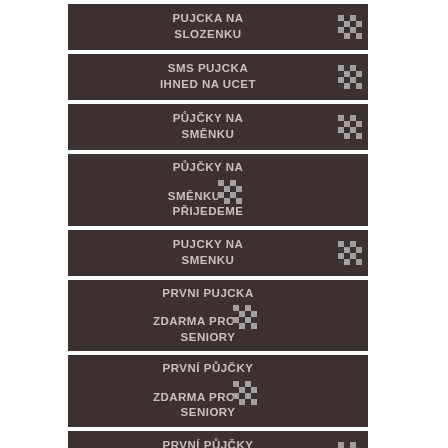PUJCKA NA SLOZENKU
SMS PUJCKA IHNED NA UCET
PŮJČKY NA SMĚNKU
PŮJČKY NA SMĚNKU PŘIJEDEME
PUJCKY NA SMENKU
PRVNI PUJCKA ZDARMA PRO SENIORY
PRVNÍ PŮJČKY ZDARMA PRO SENIORY
PRVNÍ PŮJČKY ZDARMA
PŮJČKA ZLÍN DŮCHODCE
PŮJČKY ZLÍN
ČESKÁ SPOŘITELNA PŮJČKY